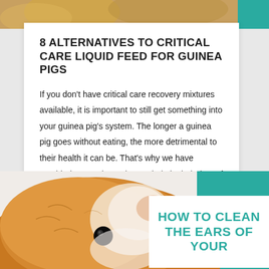[Figure (photo): Partial view of a guinea pig at the top of the page, cropped strip showing fur]
8 ALTERNATIVES TO CRITICAL CARE LIQUID FEED FOR GUINEA PIGS
If you don't have critical care recovery mixtures available, it is important to still get something into your guinea pig's system. The longer a guinea pig goes without eating, the more detrimental to their health it can be. That's why we have provided some alternatives to help in their time of need.
[Figure (photo): Close-up photo of an orange and white guinea pig face, with dark eye visible]
HOW TO CLEAN THE EARS OF YOUR